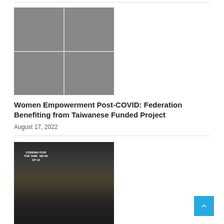[Figure (photo): A 2x2 grid of four photos showing women empowerment event scenes with speakers and attendees in a hall with pink curtains]
Women Empowerment Post-COVID: Federation Benefiting from Taiwanese Funded Project
August 17, 2022
[Figure (photo): A group photo at a ceremony for swearing-in, with people in formal attire seated and standing in front of a banner]